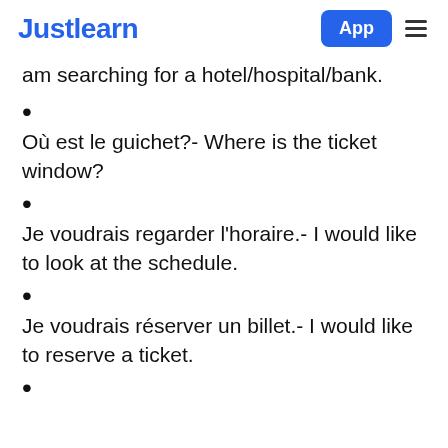Justlearn App
am searching for a hotel/hospital/bank.
Où est le guichet?- Where is the ticket window?
Je voudrais regarder l'horaire.- I would like to look at the schedule.
Je voudrais réserver un billet.- I would like to reserve a ticket.